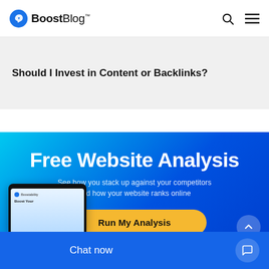BoostBlog™
Should I Invest in Content or Backlinks?
[Figure (infographic): Free Website Analysis promotional banner with gradient blue background. Title 'Free Website Analysis', subtitle 'See how you stack up against your competitors and how your website ranks online', yellow CTA button 'Run My Analysis', scroll-up button, device mockup, and chat widget at bottom.]